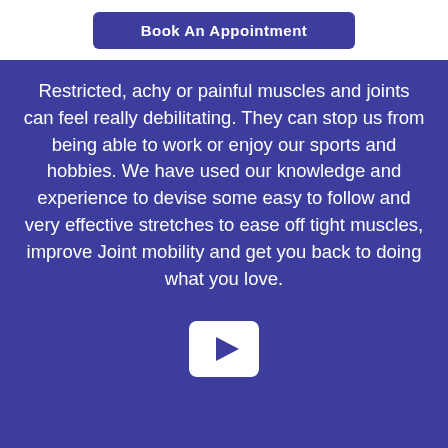[Figure (other): Book An Appointment button, dark blue rounded rectangle with white bold text]
Restricted, achy or painful muscles and joints can feel really debilitating. They can stop us from being able to work or enjoy our sports and hobbies. We have used our knowledge and experience to devise some easy to follow and very effective stretches to ease off tight muscles, improve Joint mobility and get you back to doing what you love.
[Figure (other): White play button icon on blue background, rounded rectangle shape, partially visible at bottom]